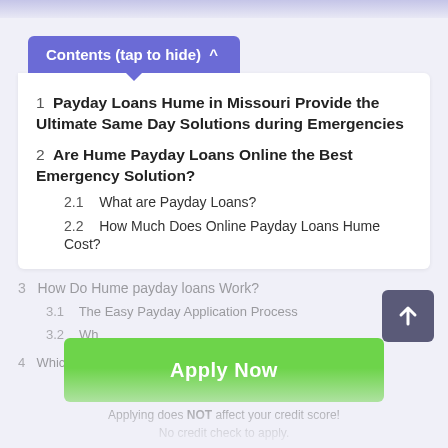Contents (tap to hide) ^
1  Payday Loans Hume in Missouri Provide the Ultimate Same Day Solutions during Emergencies
2  Are Hume Payday Loans Online the Best Emergency Solution?
2.1  What are Payday Loans?
2.2  How Much Does Online Payday Loans Hume Cost?
3  How Do Hume payday loans Work?
3.1  The Easy Payday Application Process
3.2  Wh...
4  Which Emergency Needs on 24 Hour Payday...
[Figure (infographic): Green Apply Now button with text 'Applying does NOT affect your credit score! No credit check to apply.']